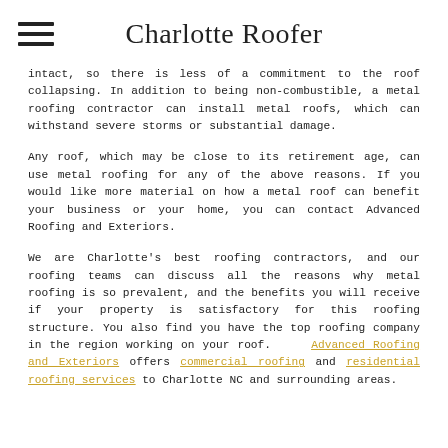Charlotte Roofer
intact, so there is less of a commitment to the roof collapsing. In addition to being non-combustible, a metal roofing contractor can install metal roofs, which can withstand severe storms or substantial damage.
Any roof, which may be close to its retirement age, can use metal roofing for any of the above reasons. If you would like more material on how a metal roof can benefit your business or your home, you can contact Advanced Roofing and Exteriors.
We are Charlotte's best roofing contractors, and our roofing teams can discuss all the reasons why metal roofing is so prevalent, and the benefits you will receive if your property is satisfactory for this roofing structure. You also find you have the top roofing company in the region working on your roof. Advanced Roofing and Exteriors offers commercial roofing and residential roofing services to Charlotte NC and surrounding areas.